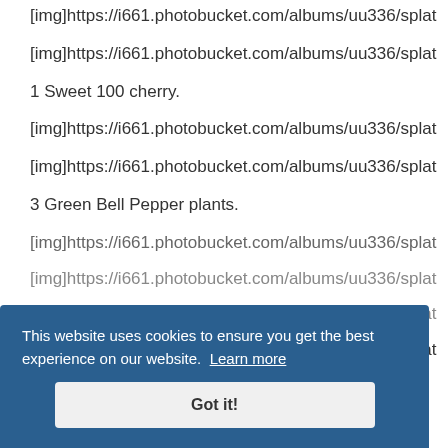[img]https://i661.photobucket.com/albums/uu336/splat
[img]https://i661.photobucket.com/albums/uu336/splat
1 Sweet 100 cherry.
[img]https://i661.photobucket.com/albums/uu336/splat
[img]https://i661.photobucket.com/albums/uu336/splat
3 Green Bell Pepper plants.
[img]https://i661.photobucket.com/albums/uu336/splat
[img]https://i661.photobucket.com/albums/uu336/splat
[img]https://i661.photobucket.com/albums/uu336/splat
[img]https://i661.photobucket.com/albums/uu336/splat
This website uses cookies to ensure you get the best experience on our website. Learn more
Got it!